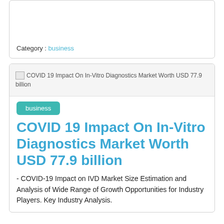Category : business
[Figure (other): Broken image placeholder for COVID 19 Impact On In-Vitro Diagnostics Market Worth USD 77.9 billion]
business
COVID 19 Impact On In-Vitro Diagnostics Market Worth USD 77.9 billion
- COVID-19 Impact on IVD Market Size Estimation and Analysis of Wide Range of Growth Opportunities for Industry Players. Key Industry Analysis.